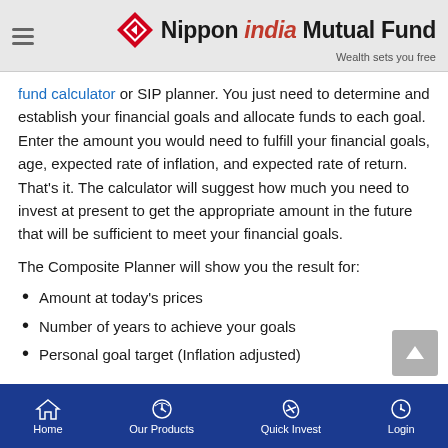Nippon India Mutual Fund — Wealth sets you free
fund calculator or SIP planner. You just need to determine and establish your financial goals and allocate funds to each goal. Enter the amount you would need to fulfill your financial goals, age, expected rate of inflation, and expected rate of return. That's it. The calculator will suggest how much you need to invest at present to get the appropriate amount in the future that will be sufficient to meet your financial goals.
The Composite Planner will show you the result for:
Amount at today's prices
Number of years to achieve your goals
Personal goal target (Inflation adjusted)
Home | Our Products | Quick Invest | Login